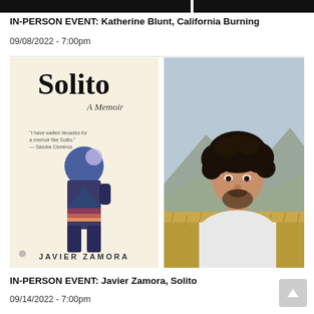[Figure (photo): Top banner with two dark/black photo strips side by side]
IN-PERSON EVENT: Katherine Blunt, California Burning
09/08/2022 - 7:00pm
[Figure (photo): Book cover of Solito: A Memoir by Javier Zamora, showing a silhouette of a child with a backpack against a landscape with mountains and moon on cream background]
[Figure (photo): Author photo of Javier Zamora, a young Latino man with curly dark hair and a short beard, wearing a white t-shirt, with a mountainous landscape in the background]
IN-PERSON EVENT: Javier Zamora, Solito
09/14/2022 - 7:00pm